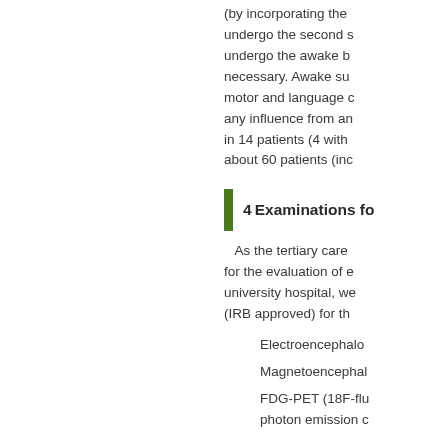(by incorporating the undergo the second s undergo the awake b necessary. Awake su motor and language c any influence from an in 14 patients (4 with about 60 patients (inc
4 Examinations fo
As the tertiary care for the evaluation of e university hospital, we (IRB approved) for th
Electroencephalo
Magnetoencephal
FDG-PET (18F-flu photon emission c